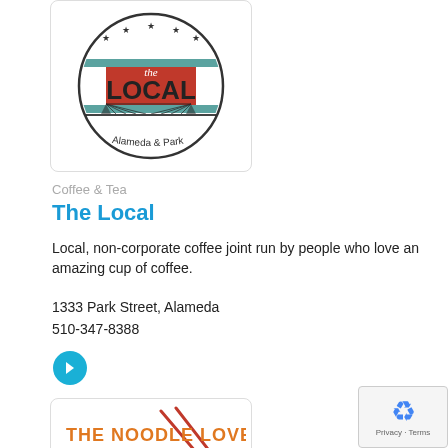[Figure (logo): The Local coffee shop logo: circular badge with stars, teal horizontal stripes, red rectangle, bridge silhouette, and text 'the LOCAL Alameda & Park']
Coffee & Tea
The Local
Local, non-corporate coffee joint run by people who love an amazing cup of coffee.
1333 Park Street, Alameda
510-347-8388
[Figure (other): Cyan circle with white right-arrow icon (navigation button)]
[Figure (logo): The Noodle Lover Club logo: orange bold text with chopsticks graphic and pink italic 'Club']